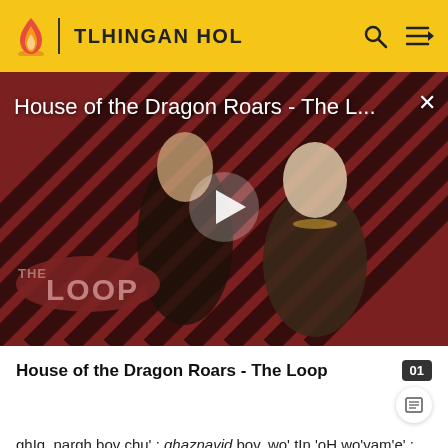TLHINGAN HOL
[Figure (screenshot): Video thumbnail showing two characters from House of the Dragon against a red diagonal striped background with THE LOOP logo overlay and a play button]
House of the Dragon Roars - The Loop
ghIq, nargh bov chu' : ghaznavid bov. wo' tIn 'oH wo'vam'e' : PunjabDaq (baratDaq), AfghanistanDaq je Sachpu'. chuD turk chaH che'wI'pu'Daj'e'. Ghazni vengDaq